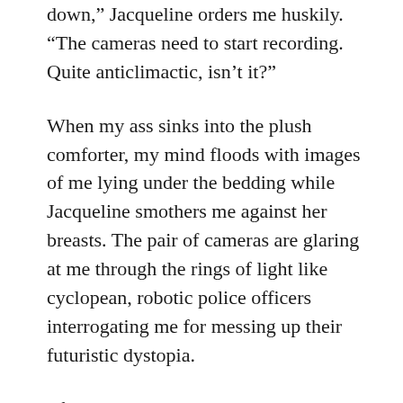down," Jacqueline orders me huskily. "The cameras need to start recording. Quite anticlimactic, isn't it?"
When my ass sinks into the plush comforter, my mind floods with images of me lying under the bedding while Jacqueline smothers me against her breasts. The pair of cameras are glaring at me through the rings of light like cyclopean, robotic police officers interrogating me for messing up their futuristic dystopia.
I feel drugged. I blink repeatedly to snap out of it, and I realize that Jacqueline has stooped behind one of the cameras. Her raven black locks frame the lense and its ribbed focus knob as she twists the machine on the tripod. The way her tits hang makes my neck shiver. I lick my already wet lips as I hope that her nipples, that